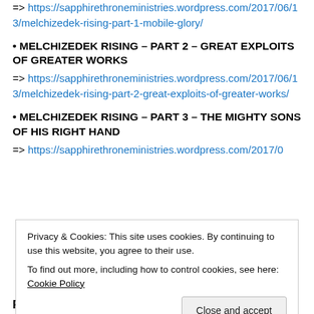=> https://sapphirethroneministries.wordpress.com/2017/06/13/melchizedek-rising-part-1-mobile-glory/
• MELCHIZEDEK RISING – PART 2 – GREAT EXPLOITS OF GREATER WORKS
=> https://sapphirethroneministries.wordpress.com/2017/06/13/melchizedek-rising-part-2-great-exploits-of-greater-works/
• MELCHIZEDEK RISING – PART 3 – THE MIGHTY SONS OF HIS RIGHT HAND
=> https://sapphirethroneministries.wordpress.com/2017/0
Privacy & Cookies: This site uses cookies. By continuing to use this website, you agree to their use.
To find out more, including how to control cookies, see here: Cookie Policy
Close and accept
RESOURCES AVAILABLE: